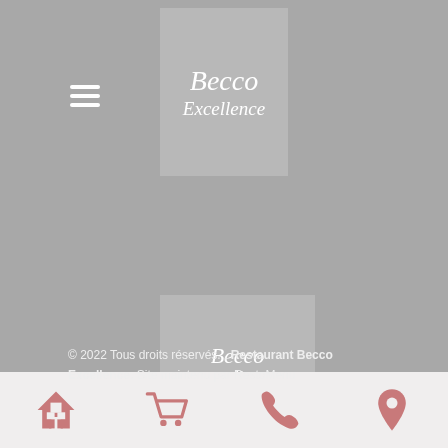[Figure (logo): Becco Excellence restaurant logo top - stylized italic text on grey box]
[Figure (logo): Becco Excellence restaurant logo bottom - stylized italic text on grey box]
© 2022 Tous droits réservés. , Restaurant Becco Excellence. Site maintenu par RestoMenu
[Figure (infographic): Bottom navigation bar with four icons: home, shopping cart, phone, location pin]